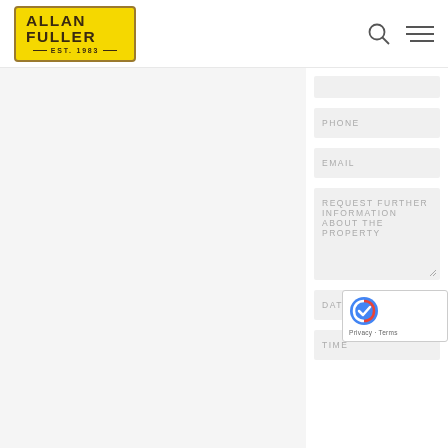[Figure (logo): Allan Fuller real estate logo — yellow rectangle with dark border, text 'ALLAN FULLER' and 'EST. 1983']
PHONE
EMAIL
REQUEST FURTHER INFORMATION ABOUT THE PROPERTY
DATE
TIME